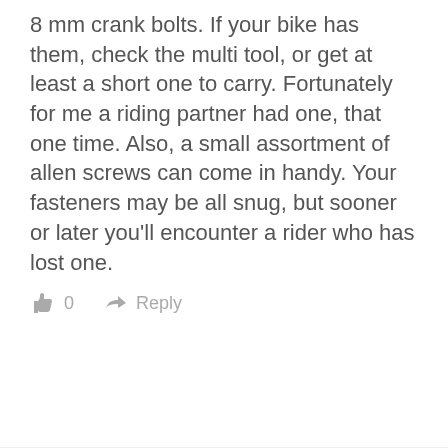8 mm crank bolts. If your bike has them, check the multi tool, or get at least a short one to carry. Fortunately for me a riding partner had one, that one time. Also, a small assortment of allen screws can come in handy. Your fasteners may be all snug, but sooner or later you'll encounter a rider who has lost one.
👍 0   ➜ Reply
Latest Headlines
Create your own DIY family summer